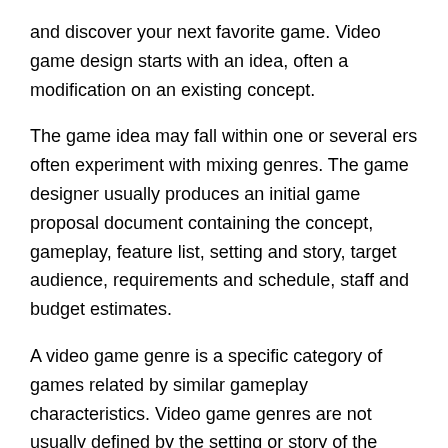and discover your next favorite game. Video game design starts with an idea, often a modification on an existing concept.
The game idea may fall within one or several ers often experiment with mixing genres. The game designer usually produces an initial game proposal document containing the concept, gameplay, feature list, setting and story, target audience, requirements and schedule, staff and budget estimates.
A video game genre is a specific category of games related by similar gameplay characteristics. Video game genres are not usually defined by the setting or story of the game or its medium of play, but by the way the player interacts with the game.
For example; a first-person shooter is still a first-person shooter regardless of whether it takes place in a science fiction, fantasy, or military. is one of the best places on the Web to play new PC/Laptop games or apps for free!Download free apps for PC free and safe ad the latest version apps apk games in Just download apps for pc such as:Cmovies Apps,Fortcraft apps,Xhubs apps,aio downloader